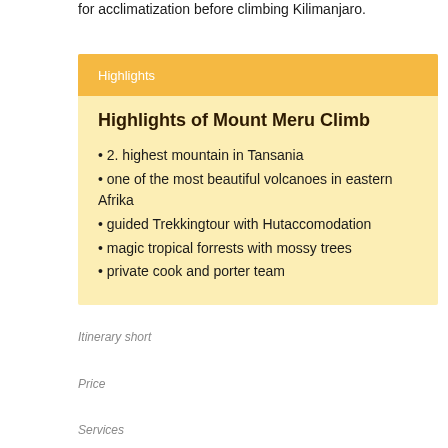for acclimatization before climbing Kilimanjaro.
Highlights
Highlights of Mount Meru Climb
• 2. highest mountain in Tansania
• one of the most beautiful volcanoes in eastern Afrika
• guided Trekkingtour with Hutaccomodation
• magic tropical forrests with mossy trees
• private cook and porter team
Itinerary short
Price
Services